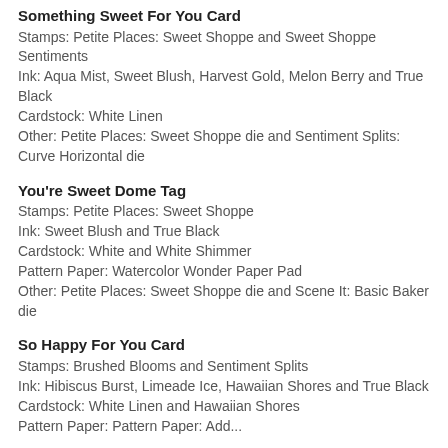Something Sweet For You Card
Stamps: Petite Places: Sweet Shoppe and Sweet Shoppe Sentiments
Ink: Aqua Mist, Sweet Blush, Harvest Gold, Melon Berry and True Black
Cardstock: White Linen
Other: Petite Places: Sweet Shoppe die and Sentiment Splits: Curve Horizontal die
You're Sweet Dome Tag
Stamps: Petite Places: Sweet Shoppe
Ink: Sweet Blush and True Black
Cardstock: White and White Shimmer
Pattern Paper: Watercolor Wonder Paper Pad
Other: Petite Places: Sweet Shoppe die and Scene It: Basic Baker die
So Happy For You Card
Stamps: Brushed Blooms and Sentiment Splits
Ink: Hibiscus Burst, Limeade Ice, Hawaiian Shores and True Black
Cardstock: White Linen and Hawaiian Shores
Pattern Paper: (text cut off)